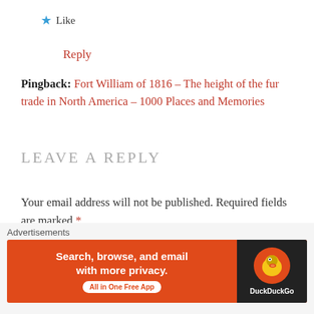★ Like
Reply
Pingback: Fort William of 1816 – The height of the fur trade in North America – 1000 Places and Memories
LEAVE A REPLY
Your email address will not be published. Required fields are marked *
COMMENT *
[Figure (screenshot): DuckDuckGo advertisement banner: Search, browse, and email with more privacy. All in One Free App.]